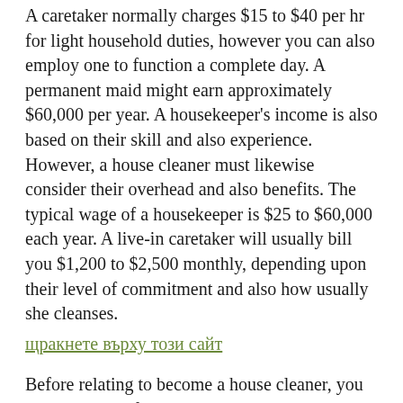A caretaker normally charges $15 to $40 per hr for light household duties, however you can also employ one to function a complete day. A permanent maid might earn approximately $60,000 per year. A housekeeper's income is also based on their skill and also experience. However, a house cleaner must likewise consider their overhead and also benefits. The typical wage of a housekeeper is $25 to $60,000 each year. A live-in caretaker will usually bill you $1,200 to $2,500 monthly, depending upon their level of commitment and also how usually she cleanses.
щракнете върху този сайт
Before relating to become a house cleaner, you need to have a few top qualities in mind. Among these is versatility. This implies that the maid should